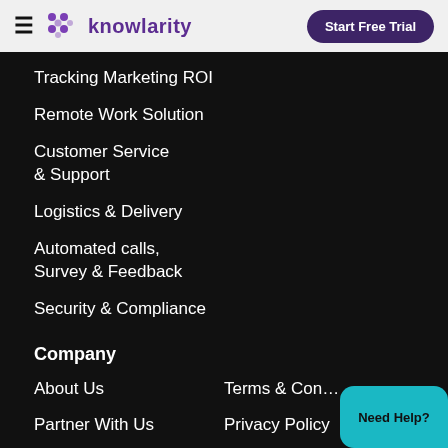Knowlarity — Start Free Trial
Tracking Marketing ROI
Remote Work Solution
Customer Service & Support
Logistics & Delivery
Automated calls, Survey & Feedback
Security & Compliance
Company
About Us
Terms & Cond...
Partner With Us
Privacy Policy